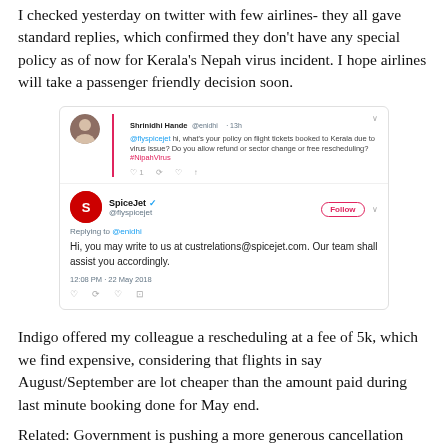I checked yesterday on twitter with few airlines- they all gave standard replies, which confirmed they don't have any special policy as of now for Kerala's Nepah virus incident. I hope airlines will take a passenger friendly decision soon.
[Figure (screenshot): Screenshot of a Twitter exchange between Shrinidhi Hande and SpiceJet. Shrinidhi asks SpiceJet about their policy on flight tickets booked to Kerala due to virus issue. SpiceJet replies: Hi, you may write to us at custrelations@spicejet.com. Our team shall assist you accordingly. Timestamp: 12:08 PM - 22 May 2018.]
Indigo offered my colleague a rescheduling at a fee of 5k, which we find expensive, considering that flights in say August/September are lot cheaper than the amount paid during last minute booking done for May end.
Related: Government is pushing a more generous cancellation policy- 100% refund if cancelled within 24 hours of booking, cancellation charge otherwise to be max of base fare + fuel surcharge or Rs 3000 whichever is lower.